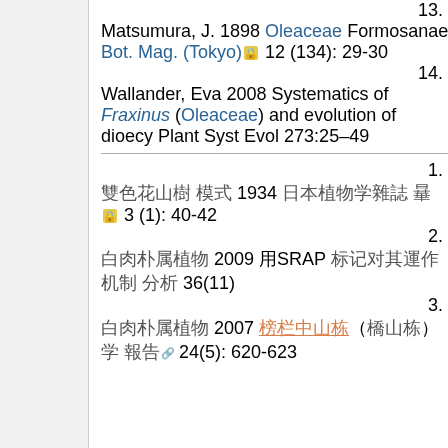13. Matsumura, J. 1898 Oleaceae Formosanae Bot. Mag. (Tokyo) 🔒 12 (134): 29-30
14. Wallander, Eva 2008 Systematics of Fraxinus (Oleaceae) and evolution of dioecy Plant Syst Evol 273:25–49
1. 日文 日文 1934 日文日文日文日文日文 日文日文日文 🔒 3 (1): 40-42
2. 中文中文中文中文中文 2009 用SRAP 中文中文中文中文中文中文中文中文 中文中文 36(11)
3. 中文中文中文中文中文 2007 橙色文字中文中文中文中文中文 中文 中文中文中文 🔗 24(5): 620-623